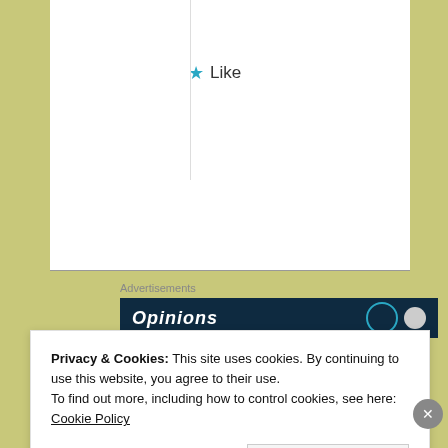[Figure (other): Star icon Like button]
Advertisements
[Figure (screenshot): Dark navy advertisement banner with 'Opinions' text in italic white and circular icons on the right]
[Figure (photo): Circular avatar photo of a person, used as blog author profile image]
A MINDFUL TRAVELER
Privacy & Cookies: This site uses cookies. By continuing to use this website, you agree to their use.
To find out more, including how to control cookies, see here: Cookie Policy
Close and accept